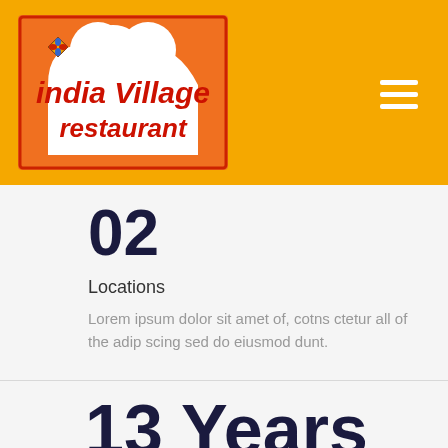[Figure (logo): India Village Restaurant logo — orange background with white chef hat silhouette, red text 'india Village restaurant', decorative diamond with floral motif]
02
Locations
Lorem ipsum dolor sit amet of, cotns ctetur all of the adip scing sed do eiusmod dunt.
13 Years